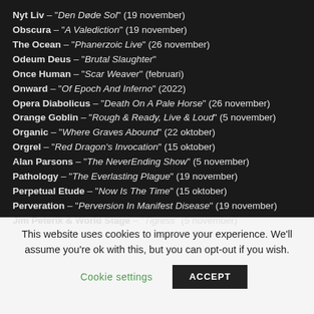Nyt Liv – "Den Døde Sol" (19 november)
Obscura – "A Valediction" (19 november)
The Ocean – "Phanerzoic Live" (26 november)
Odeum Deus – "Brutal Slaughter"
Once Human – "Scar Weaver" (februari)
Onward – "Of Epoch And Inferno" (2022)
Opera Diabolicus – "Death On A Pale Horse" (26 november)
Orange Goblin – "Rough & Ready, Live & Loud" (5 november)
Organic – "Where Graves Abound" (22 oktober)
Orgrel – "Red Dragon's Invocation" (15 oktober)
Alan Parsons – "The NeverEnding Show" (5 november)
Pathology – "The Everlasting Plague" (19 november)
Perpetual Etude – "Now Is The Time" (15 oktober)
Perveration – "Perversion In Manifest Disease" (19 november)
Jim Peterik & World Stage – "Tigress" (5 november)
This website uses cookies to improve your experience. We'll assume you're ok with this, but you can opt-out if you wish.